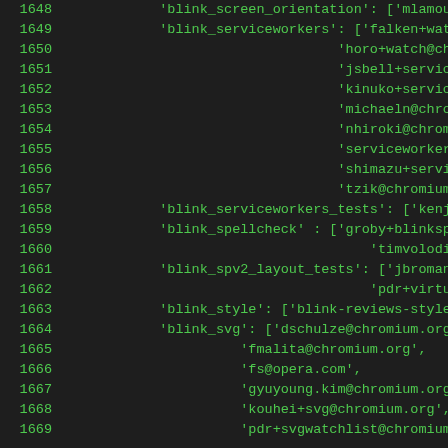1648  'blink_screen_orientation': ['mlamouri+wato
1649  'blink_serviceworkers': ['falken+watch@chro
1650                                 'horo+watch@chromi
1651                                 'jsbell+servicewor
1652                                 'kinuko+servicewor
1653                                 'michaeln@chromium
1654                                 'nhiroki@chromium.
1655                                 'serviceworker-rev
1656                                 'shimazu+servicew0
1657                                 'tzik@chromium.org
1658  'blink_serviceworkers_tests': ['kenjibaheux
1659  'blink_spellcheck' : ['groby+blinkspell@chr
1660                                 'timvolodine@chromium
1661  'blink_spv2_layout_tests': ['jbroman+watch@
1662                                 'pdr+virtualspv
1663  'blink_style': ['blink-reviews-style@chromi
1664  'blink_svg': ['dschulze@chromium.org',
1665                  'fmalita@chromium.org',
1666                  'fs@opera.com',
1667                  'gyuyoung.kim@chromium.org',
1668                  'kouhei+svg@chromium.org',
1669                  'pdr+svgwatchlist@chromium.o